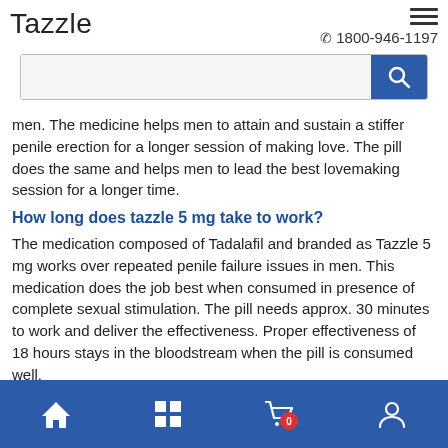Tazzle
ℂ 1800-946-1197
[Figure (screenshot): Search bar with blue search button and magnifying glass icon]
men. The medicine helps men to attain and sustain a stiffer penile erection for a longer session of making love. The pill does the same and helps men to lead the best lovemaking session for a longer time.
How long does tazzle 5 mg take to work?
The medication composed of Tadalafil and branded as Tazzle 5 mg works over repeated penile failure issues in men. This medication does the job best when consumed in presence of complete sexual stimulation. The pill needs approx. 30 minutes to work and deliver the effectiveness. Proper effectiveness of 18 hours stays in the bloodstream when the pill is consumed well.
How do you take tazzle 10mg?
Home | Grid | Cart (0) | User